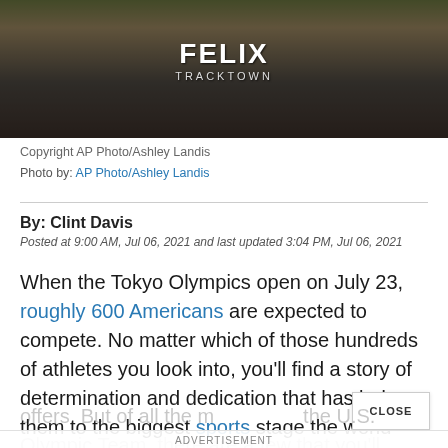[Figure (photo): Allyson Felix athlete photo wearing FELIX bib with TRACKTOWN text at a track and field event]
Copyright AP Photo/Ashley Landis
Photo by: AP Photo/Ashley Landis
By: Clint Davis
Posted at 9:00 AM, Jul 06, 2021 and last updated 3:04 PM, Jul 06, 2021
When the Tokyo Olympics open on July 23, roughly 600 Americans are expected to compete. No matter which of those hundreds of athletes you look into, you’ll find a story of determination and dedication that has led them to the biggest sports stage the world offers. But of all the members of the U.S. Olympic Team, there are a few that you’ll definitely want to watch for.